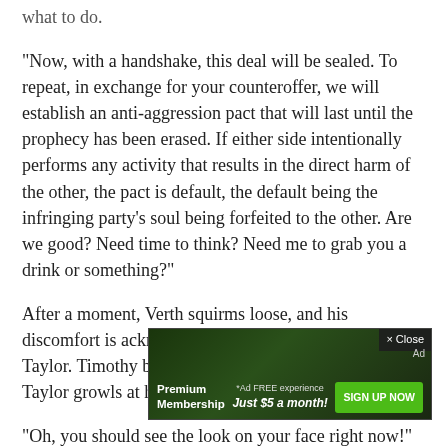what to do.
"Now, with a handshake, this deal will be sealed. To repeat, in exchange for your counteroffer, we will establish an anti-aggression pact that will last until the prophecy has been erased. If either side intentionally performs any activity that results in the direct harm of the other, the pact is default, the default being the infringing party's soul being forfeited to the other. Are we good? Need time to think? Need me to grab you a drink or something?"
After a moment, Verth squirms loose, and his discomfort is acknowledged by both Timothy and Taylor. Timothy backs off, laughing hysterically, while Taylor growls at him.
"Oh, you should see the look on your face right now!" Timothy yells out, cackling.
"I think he has reason to believe you were trying something," Taylor mutters. "I can tell you have no sense of decency, but at least gi...
"It was...
"I have no sense of humor for anyone who would dare even
[Figure (other): Advertisement overlay: Premium Membership *Ad FREE experience Just $5 a month! SIGN UP NOW button, with × Close and Ad labels, forest/dark background.]